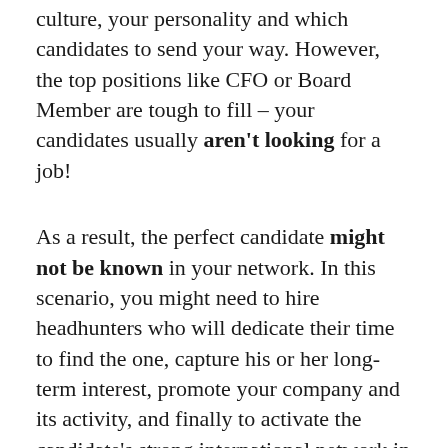culture, your personality and which candidates to send your way. However, the top positions like CFO or Board Member are tough to fill – your candidates usually aren't looking for a job!
As a result, the perfect candidate might not be known in your network. In this scenario, you might need to hire headhunters who will dedicate their time to find the one, capture his or her long-term interest, promote your company and its activity, and finally to activate the candidate's strong international network in life sciences for you.